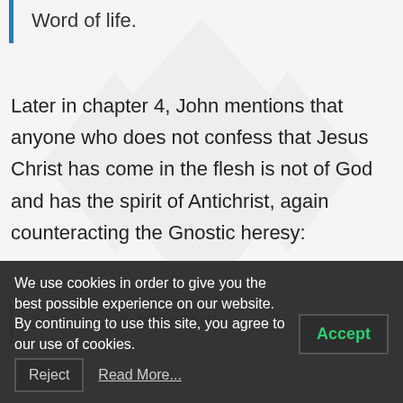Word of life.
Later in chapter 4, John mentions that anyone who does not confess that Jesus Christ has come in the flesh is not of God and has the spirit of Antichrist, again counteracting the Gnostic heresy:
1 John 4:1-3 (NKJV)
We use cookies in order to give you the best possible experience on our website. By continuing to use this site, you agree to our use of cookies.
Accept
Reject
Read More...